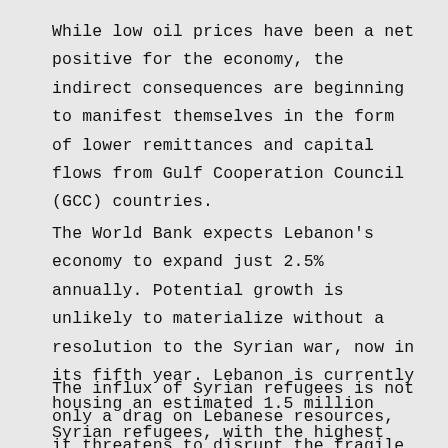While low oil prices have been a net positive for the economy, the indirect consequences are beginning to manifest themselves in the form of lower remittances and capital flows from Gulf Cooperation Council (GCC) countries.
The World Bank expects Lebanon's economy to expand just 2.5% annually. Potential growth is unlikely to materialize without a resolution to the Syrian war, now in its fifth year. Lebanon is currently housing an estimated 1.5 million Syrian refugees, with the highest concentration in the Bekaa Valley and Beirut.
The influx of Syrian refugees is not only a drag on Lebanese resources, it threatens to disrupt the fragile